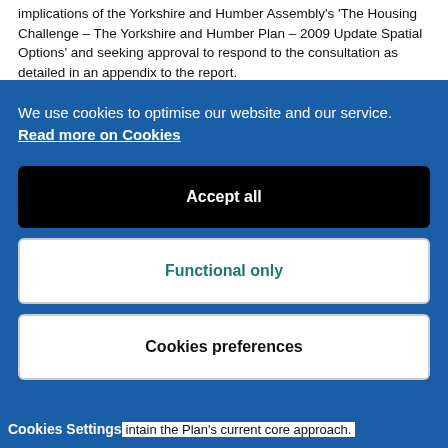implications of the Yorkshire and Humber Assembly's 'The Housing Challenge – The Yorkshire and Humber Plan – 2009 Update Spatial Options' and seeking approval to respond to the consultation as detailed in an appendix to the report.
We use cookies to optimise our website and our service.  Read more on Cookies
Accept all
Functional only
Cookies preferences
Cookies Settings  intain the Plan's current core approach.